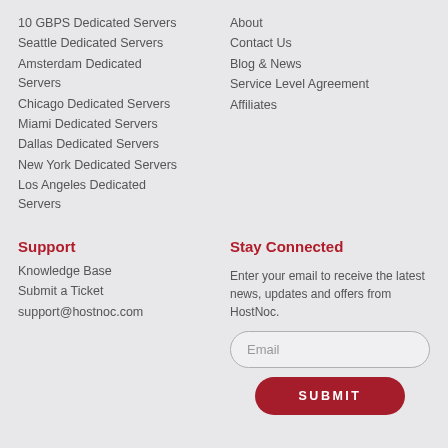10 GBPS Dedicated Servers
Seattle Dedicated Servers
Amsterdam Dedicated Servers
Chicago Dedicated Servers
Miami Dedicated Servers
Dallas Dedicated Servers
New York Dedicated Servers
Los Angeles Dedicated Servers
About
Contact Us
Blog & News
Service Level Agreement
Affiliates
Support
Knowledge Base
Submit a Ticket
support@hostnoc.com
Stay Connected
Enter your email to receive the latest news, updates and offers from HostNoc.
Email
SUBMIT